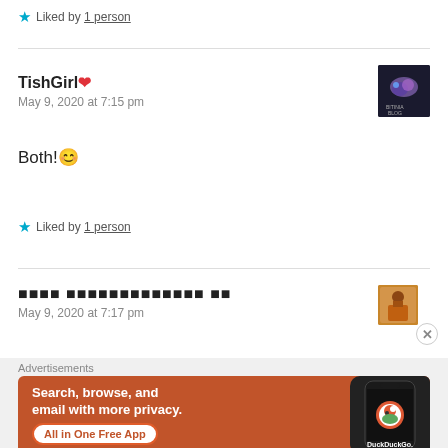★ Liked by 1 person
TishGirl ❤
May 9, 2020 at 7:15 pm
Both! 😊
★ Liked by 1 person
□□□□ □□□□□□□□□□□□□ □□
May 9, 2020 at 7:17 pm
Advertisements
[Figure (screenshot): DuckDuckGo advertisement banner: orange background with text 'Search, browse, and email with more privacy. All in One Free App' and a phone image with DuckDuckGo logo]